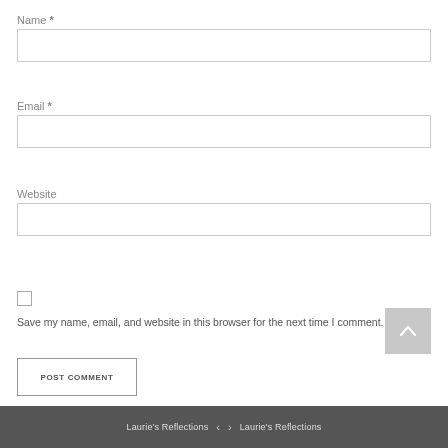Name *
Email *
Website
Save my name, email, and website in this browser for the next time I comment.
POST COMMENT
Laurie's Reflections < > Laurie's Reflections